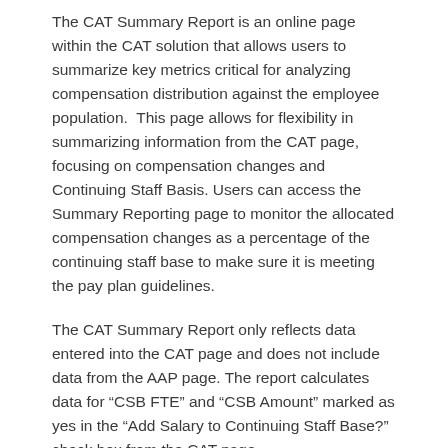The CAT Summary Report is an online page within the CAT solution that allows users to summarize key metrics critical for analyzing compensation distribution against the employee population. This page allows for flexibility in summarizing information from the CAT page, focusing on compensation changes and Continuing Staff Basis. Users can access the Summary Reporting page to monitor the allocated compensation changes as a percentage of the continuing staff base to make sure it is meeting the pay plan guidelines.
The CAT Summary Report only reflects data entered into the CAT page and does not include data from the AAP page. The report calculates data for “CSB FTE” and “CSB Amount” marked as yes in the “Add Salary to Continuing Staff Base?” check box from the CAT page